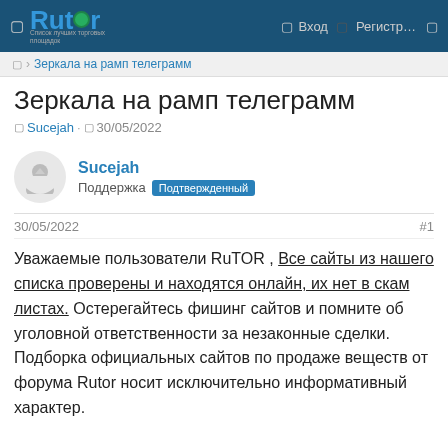Rutor | Вход | Регистр...
Зеркала на рамп телеграмм
Зеркала на рамп телеграмм
Sucejah · 30/05/2022
Sucejah
Поддержка Подтвержденный
30/05/2022 #1
Уважаемые пользователи RuTOR , Все сайты из нашего списка проверены и находятся онлайн, их нет в скам листах. Остерегайтесь фишинг сайтов и помните об уголовной ответственности за незаконные сделки. Подборка официальных сайтов по продаже веществ от форума Rutor носит исключительно информативный характер.